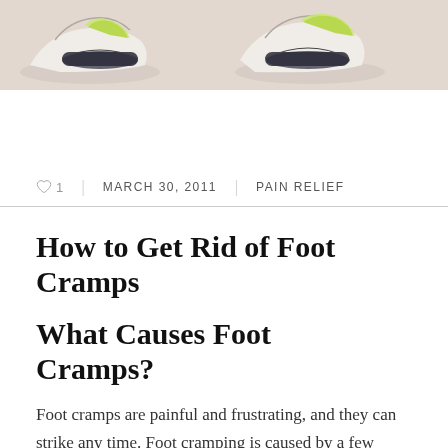[Figure (photo): Hero image showing athletic running shoes on a light pink/beige background. Two sneakers visible — one on the left and one on the right, both with neon green/yellow accents.]
♡ 1  |  MARCH 30, 2011  |  PAIN RELIEF
How to Get Rid of Foot Cramps
What Causes Foot Cramps?
Foot cramps are painful and frustrating, and they can strike any time. Foot cramping is caused by a few simple factors that can